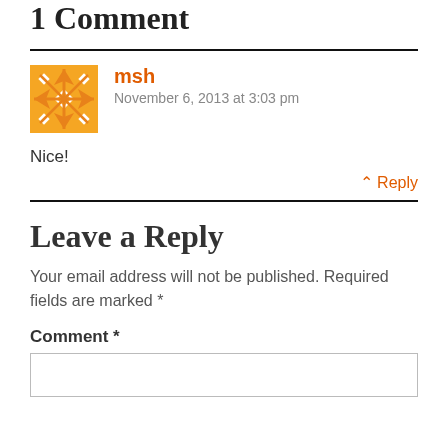1 Comment
msh
November 6, 2013 at 3:03 pm
Nice!
↑ Reply
Leave a Reply
Your email address will not be published. Required fields are marked *
Comment *